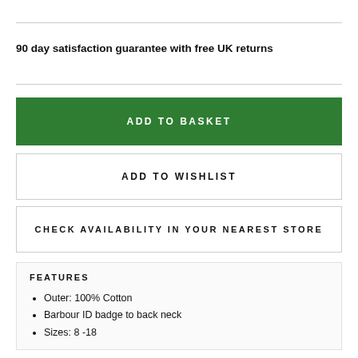90 day satisfaction guarantee with free UK returns
ADD TO BASKET
ADD TO WISHLIST
CHECK AVAILABILITY IN YOUR NEAREST STORE
FEATURES
Outer: 100% Cotton
Barbour ID badge to back neck
Sizes: 8 -18